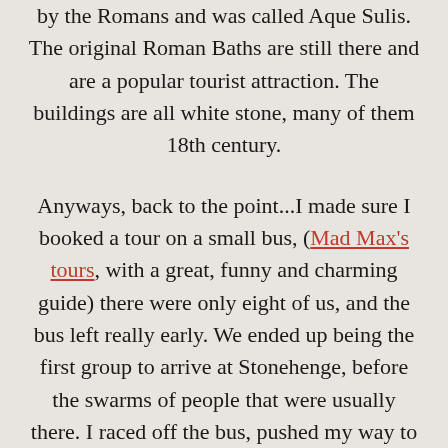by the Romans and was called Aque Sulis. The original Roman Baths are still there and are a popular tourist attraction. The buildings are all white stone, many of them 18th century.
Anyways, back to the point...I made sure I booked a tour on a small bus, (Mad Max's tours, with a great, funny and charming guide) there were only eight of us, and the bus left really early. We ended up being the first group to arrive at Stonehenge, before the swarms of people that were usually there. I raced off the bus, pushed my way to the front of my fellow travellers, and managed to snap a few pictures with absolutely no people in them! Yay! Unfortunately, they have built a freeway right next to this amazing monument, and it's not possible to feel how it might have been to